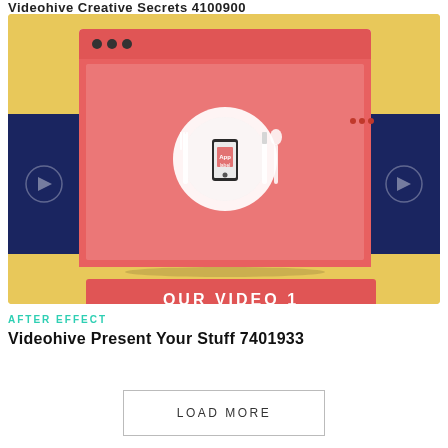Videohive Creative Secrets 4100900
[Figure (screenshot): Screenshot of a video template preview showing a food/restaurant themed animation with a plate, fork, knife, spoon and smartphone on a red background, with 'OUR VIDEO 1' label at the bottom, flanked by dark blue sidebars with navigation arrows]
AFTER EFFECT
Videohive Present Your Stuff 7401933
LOAD MORE